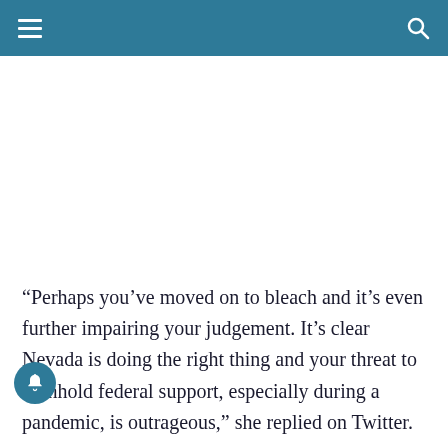“Perhaps you’ve moved on to bleach and it’s even further impairing your judgement. It’s clear Nevada is doing the right thing and your threat to withhold federal support, especially during a pandemic, is outrageous,” she replied on Twitter.